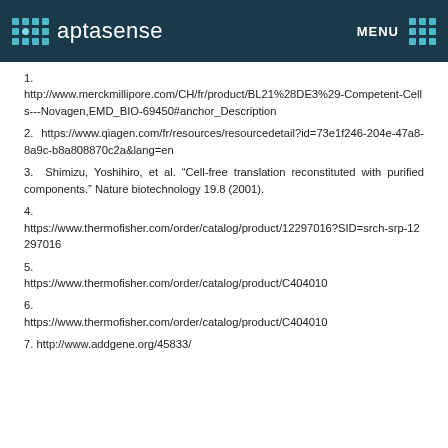aptasense | MENU
1. http://www.merckmillipore.com/CH/fr/product/BL21%28DE3%29-Competent-Cells---Novagen,EMD_BIO-69450#anchor_Description
2. https://www.qiagen.com/fr/resources/resourcedetail?id=73e1f246-204e-47a8-8a9c-b8a808870c2a&lang=en
3. Shimizu, Yoshihiro, et al. "Cell-free translation reconstituted with purified components." Nature biotechnology 19.8 (2001).
4. https://www.thermofisher.com/order/catalog/product/12297016?SID=srch-srp-12297016
5. https://www.thermofisher.com/order/catalog/product/C404010
6. https://www.thermofisher.com/order/catalog/product/C404010
7. http://www.addgene.org/45833/